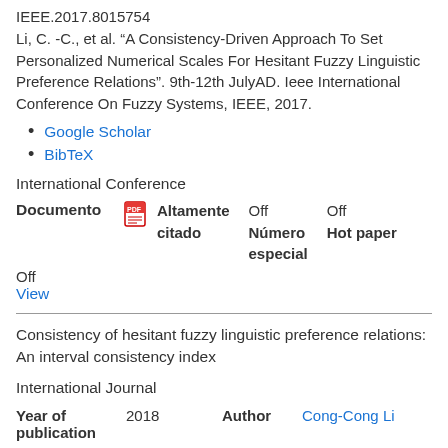IEEE.2017.8015754
Li, C. -C., et al. “A Consistency-Driven Approach To Set Personalized Numerical Scales For Hesitant Fuzzy Linguistic Preference Relations”. 9th-12th JulyAD. Ieee International Conference On Fuzzy Systems, IEEE, 2017.
Google Scholar
BibTeX
International Conference
Documento   [icon]   Altamente citado   Off   Número especial   Off   Hot paper
Off
View
Consistency of hesitant fuzzy linguistic preference relations: An interval consistency index
International Journal
Year of publication   2018   Author   Cong-Cong Li